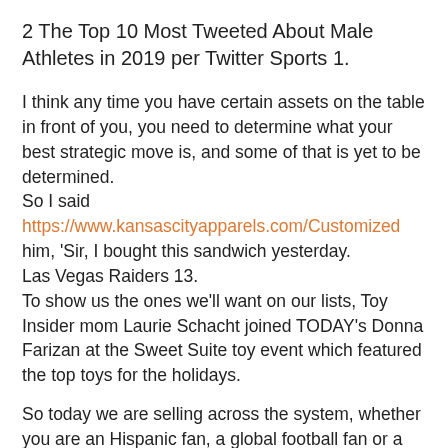2 The Top 10 Most Tweeted About Male Athletes in 2019 per Twitter Sports 1.
I think any time you have certain assets on the table in front of you, you need to determine what your best strategic move is, and some of that is yet to be determined.
So I said
https://www.kansascityapparels.com/Customized
him, ‘Sir, I bought this sandwich yesterday.
Las Vegas Raiders 13.
To show us the ones we’ll want on our lists, Toy Insider mom Laurie Schacht joined TODAY’s Donna Farizan at the Sweet Suite toy event which featured the top toys for the holidays.
So today we are selling across the system, whether you are an Hispanic fan, a global football fan or a fan